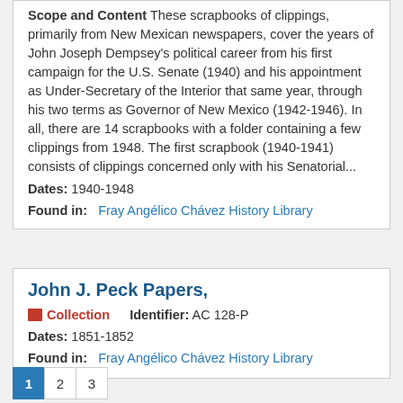Scope and Content These scrapbooks of clippings, primarily from New Mexican newspapers, cover the years of John Joseph Dempsey's political career from his first campaign for the U.S. Senate (1940) and his appointment as Under-Secretary of the Interior that same year, through his two terms as Governor of New Mexico (1942-1946). In all, there are 14 scrapbooks with a folder containing a few clippings from 1948. The first scrapbook (1940-1941) consists of clippings concerned only with his Senatorial...
Dates: 1940-1948
Found in: Fray Angélico Chávez History Library
John J. Peck Papers,
Collection   Identifier: AC 128-P
Dates: 1851-1852
Found in: Fray Angélico Chávez History Library
1
2
3